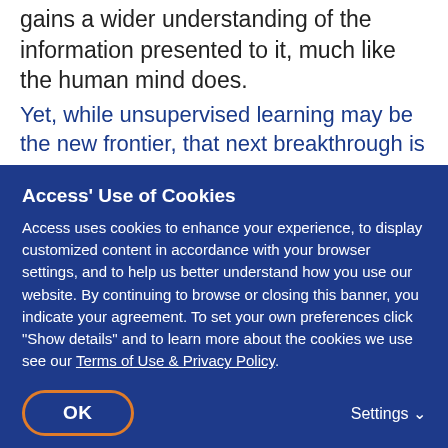gains a wider understanding of the information presented to it, much like the human mind does.
Yet, while unsupervised learning may be the new frontier, that next breakthrough is a way off. ARMA President Jason Stearns who observed during a recent episode of ARMA that "What I'm hearing consistent in the AI conversation is a looking at this experiment to be but...
Pe... more vital.
[Figure (screenshot): Cookie consent banner overlay on a dark blue background. Title: 'Access' Use of Cookies'. Body text: 'Access uses cookies to enhance your experience, to display customized content in accordance with your browser settings, and to help us better understand how you use our website. By continuing to browse or closing this banner, you indicate your agreement. To set your own preferences click "Show details" and to learn more about the cookies we use see our Terms of Use & Privacy Policy.' Buttons: OK (outlined in orange), Settings with dropdown arrow.]
When talking about AI or ML, every technology comes part and parcel with upsides and downsides, risks and challenges. Balancing those risks must always